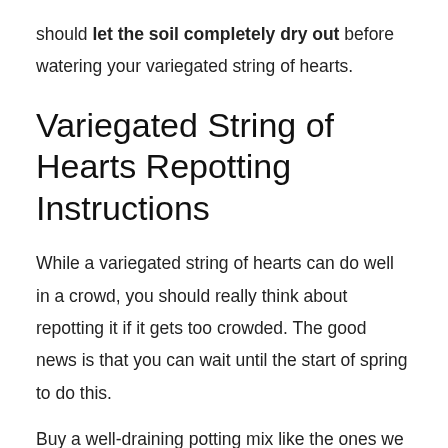should let the soil completely dry out before watering your variegated string of hearts.
Variegated String of Hearts Repotting Instructions
While a variegated string of hearts can do well in a crowd, you should really think about repotting it if it gets too crowded. The good news is that you can wait until the start of spring to do this.
Buy a well-draining potting mix like the ones we